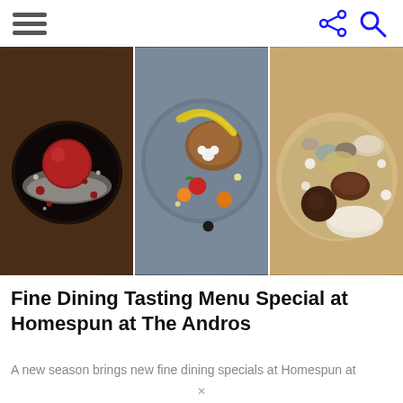Navigation menu | Share | Search
[Figure (photo): Three fine dining dishes side by side: left panel shows a dark bowl with a red spherical dessert and scattered elements on a dark surface; center panel shows an artistic plated dish on a blue-grey ceramic plate with yellow swipes and colorful garnishes; right panel shows a collection of chocolates, macarons and confections in a light bowl.]
Fine Dining Tasting Menu Special at Homespun at The Andros
A new season brings new fine dining specials at Homespun at